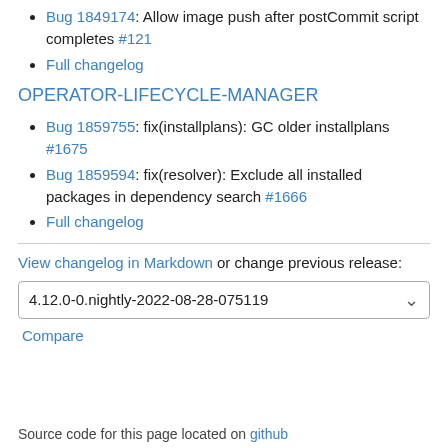Bug 1849174: Allow image push after postCommit script completes #121
Full changelog
OPERATOR-LIFECYCLE-MANAGER
Bug 1859755: fix(installplans): GC older installplans #1675
Bug 1859594: fix(resolver): Exclude all installed packages in dependency search #1666
Full changelog
View changelog in Markdown or change previous release:
4.12.0-0.nightly-2022-08-28-075119
Compare
Source code for this page located on github